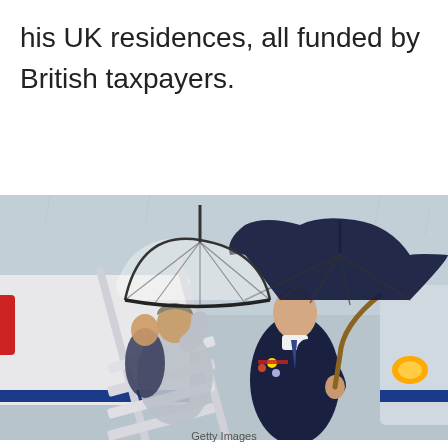his UK residences, all funded by British taxpayers.
[Figure (photo): A man in a dark suit with military medals holding a large dark umbrella descends aircraft stairs. Behind him, a woman in lighter clothing holds a transparent dome umbrella. The scene appears rainy and overcast.]
Getty Images